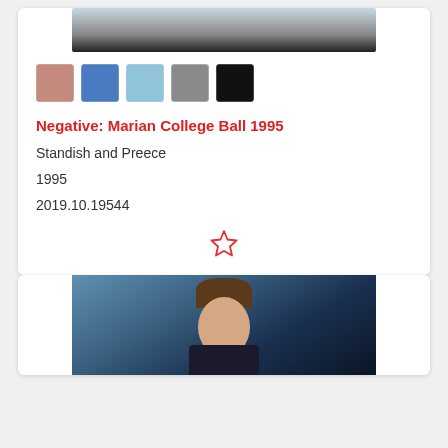[Figure (photo): Top portion of a photograph from Marian College Ball 1995, showing two people in formal attire]
[Figure (infographic): Five color swatches: dusty rose/pink, medium blue, light blue, grey, black]
Negative: Marian College Ball 1995
Standish and Preece
1995
2019.10.19544
[Figure (illustration): Star (favorite/bookmark) icon, outlined in red/orange]
[Figure (photo): Portrait photograph of a young man in a dark suit against a blue background]